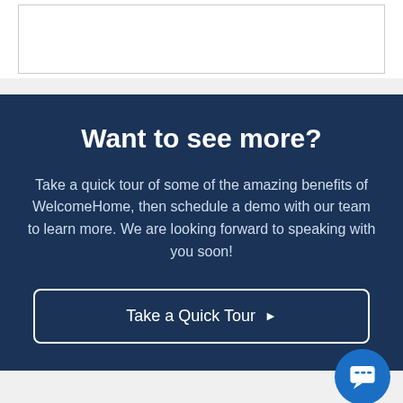[Figure (other): White box with border at top of page]
Want to see more?
Take a quick tour of some of the amazing benefits of WelcomeHome, then schedule a demo with our team to learn more. We are looking forward to speaking with you soon!
Take a Quick Tour ▶
[Figure (other): Blue circular chat bubble icon in bottom right]